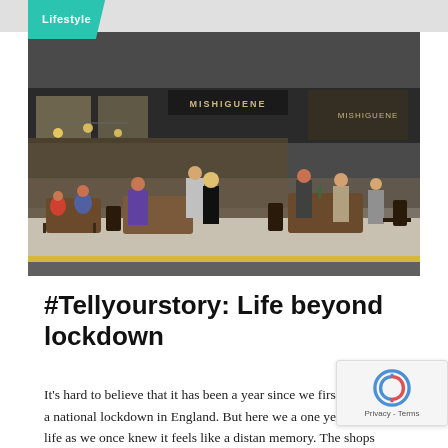Lifestyle
[Figure (photo): Outdoor cafe scene with people sitting at tables on a city pavement outside a restaurant called Mishiguene. A waiter in a grey suit is serving customers. People are dining outdoors on a sunny day.]
#Tellyourstory: Life beyond lockdown
It's hard to believe that it has been a year since we first went into a national lockdown in England. But here we are, one year on and life as we once knew it feels like a distant memory. The shops remain largely closed. The pubs and